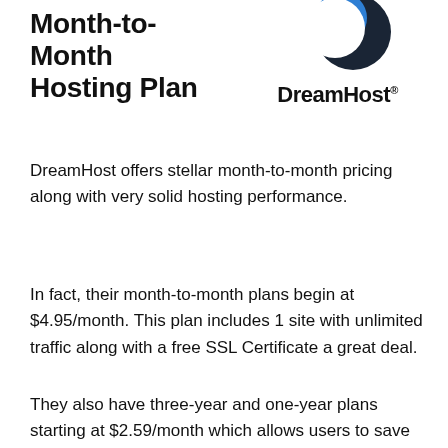Month-to-Month Hosting Plan
[Figure (logo): DreamHost logo: dark navy and blue crescent/circle icon above the bold wordmark 'DreamHost' with registered trademark superscript]
DreamHost offers stellar month-to-month pricing along with very solid hosting performance.
In fact, their month-to-month plans begin at $4.95/month. This plan includes 1 site with unlimited traffic along with a free SSL Certificate a great deal.
They also have three-year and one-year plans starting at $2.59/month which allows users to save